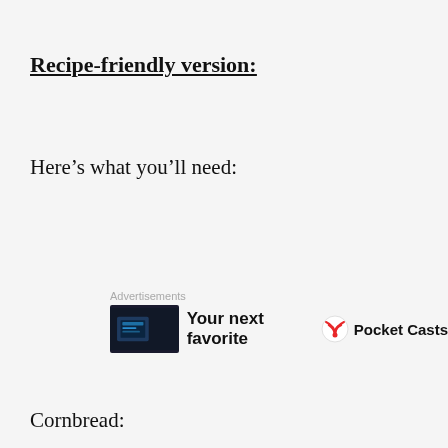Recipe-friendly version:
Here’s what you’ll need:
[Figure (screenshot): Advertisement banner showing a dark device image, text 'Your next favorite', and a Pocket Casts logo with red wifi-like icon]
Cornbread:
Privacy & Cookies: This site uses cookies. By continuing to use this website, you agree to their use.
To find out more, including how to control cookies, see here: Cookie Policy
Close and accept